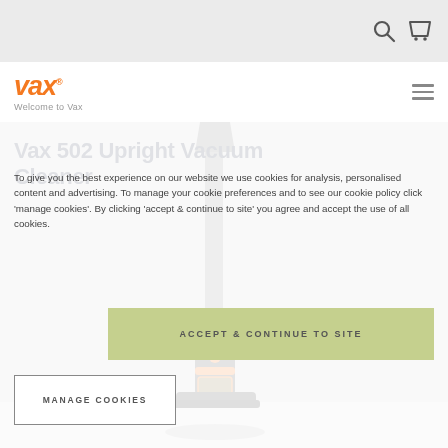Vax website header with search and cart icons
[Figure (logo): Vax logo in orange italic text with 'Welcome to Vax' tagline below]
Vax 502 Upright Vacuum Cleaner
To give you the best experience on our website we use cookies for analysis, personalised content and advertising. To manage your cookie preferences and to see our cookie policy click 'manage cookies'. By clicking 'accept & continue to site' you agree and accept the use of all cookies.
ACCEPT & CONTINUE TO SITE
MANAGE COOKIES
[Figure (photo): Vax 502 Upright Vacuum Cleaner product photo - grey and orange upright vacuum cleaner on grey background]